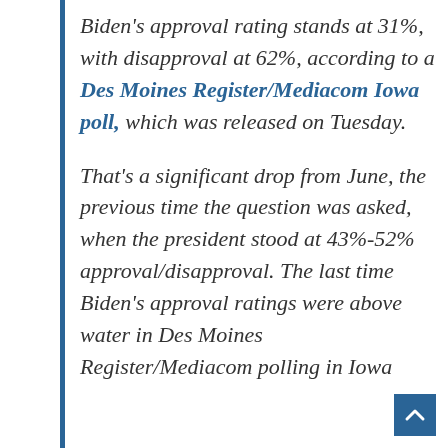Biden's approval rating stands at 31%, with disapproval at 62%, according to a Des Moines Register/Mediacom Iowa poll, which was released on Tuesday. That's a significant drop from June, the previous time the question was asked, when the president stood at 43%-52% approval/disapproval. The last time Biden's approval ratings were above water in Des Moines Register/Mediacom polling in Iowa